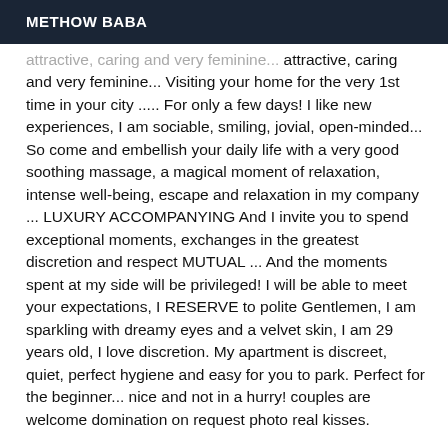METHOW BABA
attractive, caring and very feminine... Visiting your home for the very 1st time in your city ..... For only a few days! I like new experiences, I am sociable, smiling, jovial, open-minded... So come and embellish your daily life with a very good soothing massage, a magical moment of relaxation, intense well-being, escape and relaxation in my company ... LUXURY ACCOMPANYING And I invite you to spend exceptional moments, exchanges in the greatest discretion and respect MUTUAL ... And the moments spent at my side will be privileged! I will be able to meet your expectations, I RESERVE to polite Gentlemen, I am sparkling with dreamy eyes and a velvet skin, I am 29 years old, I love discretion. My apartment is discreet, quiet, perfect hygiene and easy for you to park. Perfect for the beginner... nice and not in a hurry! couples are welcome domination on request photo real kisses.